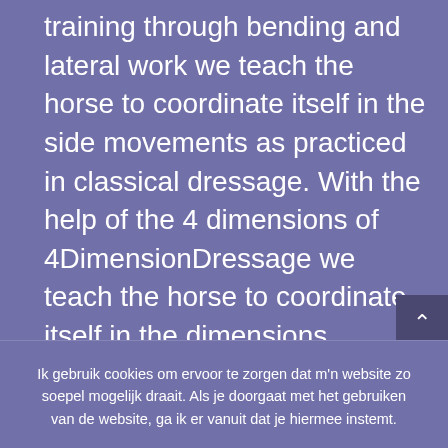training through bending and lateral work we teach the horse to coordinate itself in the side movements as practiced in classical dressage. With the help of the 4 dimensions of 4DimensionDressage we teach the horse to coordinate itself in the dimensions vertical, horizontal, diagonal and lateral.
Ik gebruik cookies om ervoor te zorgen dat m'n website zo soepel mogelijk draait. Als je doorgaat met het gebruiken van de website, ga ik er vanuit dat je hiermee instemt.